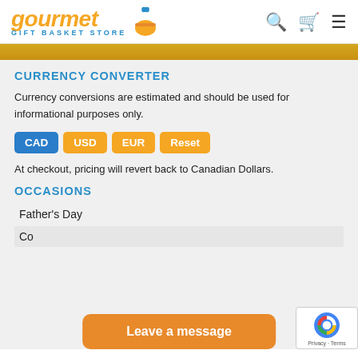gourmet GIFT BASKET STORE
CURRENCY CONVERTER
Currency conversions are estimated and should be used for informational purposes only.
CAD  USD  EUR  Reset
At checkout, pricing will revert back to Canadian Dollars.
OCCASIONS
Father's Day
Co…
Leave a message